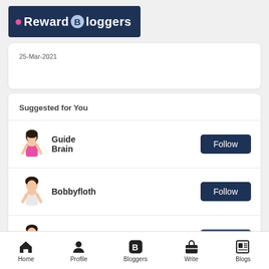[Figure (logo): Reward Bloggers logo on dark blue background with pink dot and blue B circle]
25-Mar-2021
Suggested for You
Guide Brain
Bobbyfloth
Jason Carl
Home  Profile  Bloggers  Write  Blogs